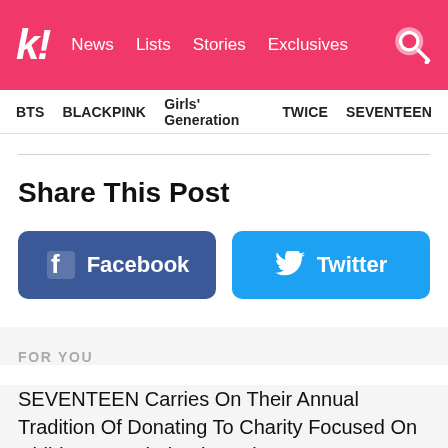k! News Lists Stories Exclusives
BTS BLACKPINK Girls' Generation TWICE SEVENTEEN
Share This Post
Facebook
Twitter
FOR YOU
SEVENTEEN Carries On Their Annual Tradition Of Donating To Charity Focused On Children For Their 7th Anniversary